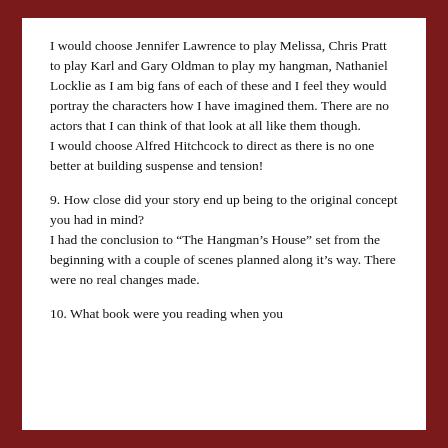I would choose Jennifer Lawrence to play Melissa, Chris Pratt to play Karl and Gary Oldman to play my hangman, Nathaniel Locklie as I am big fans of each of these and I feel they would portray the characters how I have imagined them. There are no actors that I can think of that look at all like them though.
I would choose Alfred Hitchcock to direct as there is no one better at building suspense and tension!
9. How close did your story end up being to the original concept you had in mind?
I had the conclusion to “The Hangman’s House” set from the beginning with a couple of scenes planned along it’s way. There were no real changes made.
10. What book were you reading when you